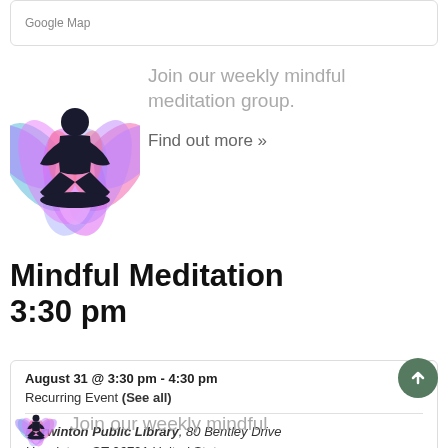Google Map
[Figure (illustration): Colorful lotus flower with meditation silhouette illustration]
Join our weekly mindful meditation group.
Find out more »
Mindful Meditation
3:30 pm
August 31 @ 3:30 pm - 4:30 pm
Recurring Event (See all)
Harwinton Public Library, 80 Bentley Drive Harwinton, CT 06791 United States
+ Google Map
[Figure (illustration): Partial lotus flower with meditation silhouette illustration at bottom of page]
Join our weekly mindful